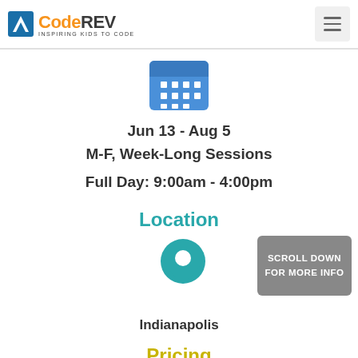CodeREV — Inspiring Kids to Code
[Figure (illustration): Blue calendar icon with grid of dots]
Jun 13 - Aug 5
M-F, Week-Long Sessions
Full Day: 9:00am - 4:00pm
Location
[Figure (illustration): Teal map location pin icon]
Indianapolis
Pricing